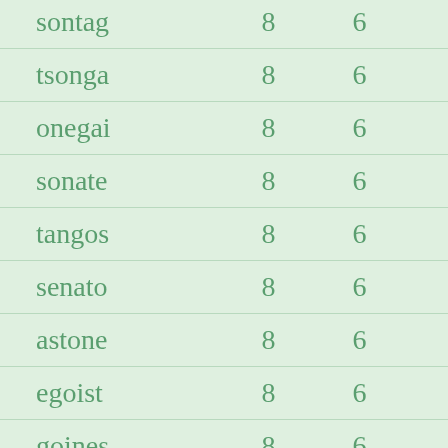| sontag | 8 | 6 |
| tsonga | 8 | 6 |
| onegai | 8 | 6 |
| sonate | 8 | 6 |
| tangos | 8 | 6 |
| senato | 8 | 6 |
| astone | 8 | 6 |
| egoist | 8 | 6 |
| goines | 8 | 6 |
| senoia | 8 | 6 |